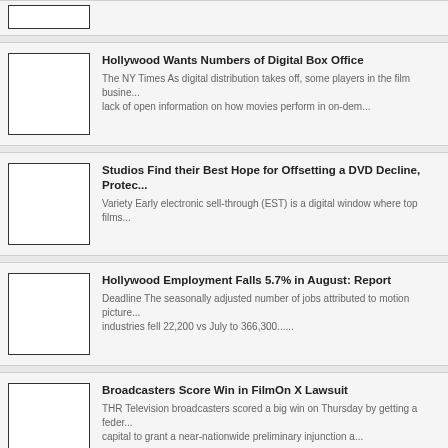Hollywood Wants Numbers of Digital Box Office
The NY Times As digital distribution takes off, some players in the film business are lamenting a lack of open information on how movies perform in on-dem...
Studios Find their Best Hope for Offsetting a DVD Decline, Protec...
Variety Early electronic sell-through (EST) is a digital window where top films...
Hollywood Employment Falls 5.7% in August: Report
Deadline The seasonally adjusted number of jobs attributed to motion picture industries fell 22,200 vs July to 366,300......
Broadcasters Score Win in FilmOn X Lawsuit
THR Television broadcasters scored a big win on Thursday by getting a federal judge in the nation's capital to grant a near-nationwide preliminary injunction a...
Homeland : Capturing Tension and Apprehension for the Showtime...
Connect 2 On September 29, the Showtime dramatic series Homeland will return for its third... Season three begins in the aftermath of a massive and horrifi...
Hollywood Studios Win Maive Hotfile Lawsuit
THR According to the MPAA, this is the first time that a US court has ruled that a cyberlocker can be held liable for copyright infringement......
Gliding Over All: An Interview with Breaking Bad Cinematographers...